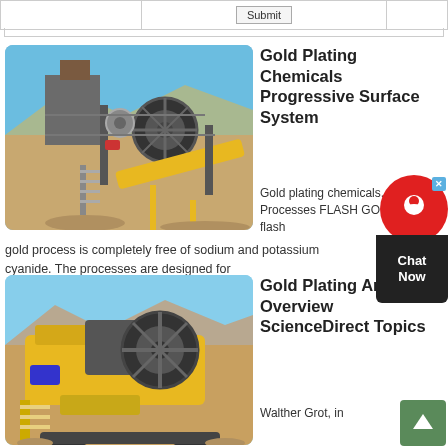Submit
[Figure (photo): Industrial jaw crusher / ore processing equipment on a construction site with blue sky background]
Gold Plating Chemicals Progressive Surface Systems
Gold plating chemicals. Gold Processes FLASH GOLD: Our flash gold process is completely free of sodium and potassium cyanide. The processes are designed for
get price
[Figure (photo): Yellow mobile jaw crusher/stone crusher machine on a worksite with mountains and blue sky in background]
Gold Plating An Overview ScienceDirect Topics
Walther Grot, in